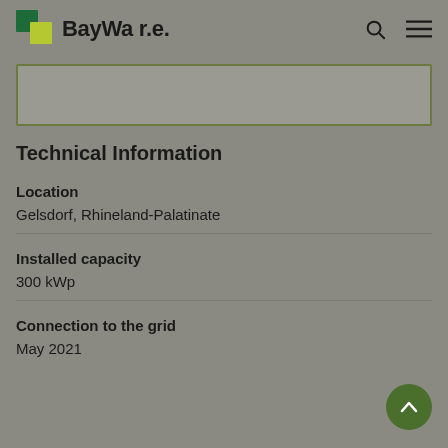BayWa r.e.
[Figure (other): Partially visible image or content box with olive/green border]
Technical Information
Location
Gelsdorf, Rhineland-Palatinate
Installed capacity
300 kWp
Connection to the grid
May 2021